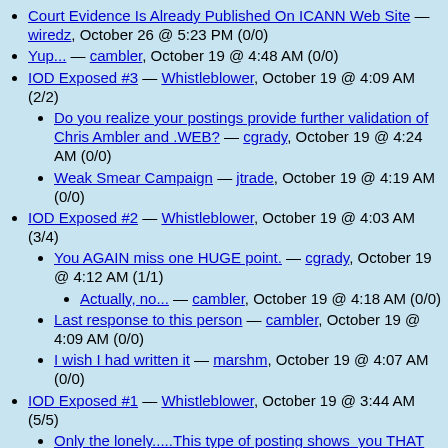Court Evidence Is Already Published On ICANN Web Site — wiredz, October 26 @ 5:23 PM (0/0)
Yup... — cambler, October 19 @ 4:48 AM (0/0)
IOD Exposed #3 — Whistleblower, October 19 @ 4:09 AM (2/2)
Do you realize your postings provide further validation of Chris Ambler and .WEB? — cgrady, October 19 @ 4:24 AM (0/0)
Weak Smear Campaign — jtrade, October 19 @ 4:19 AM (0/0)
IOD Exposed #2 — Whistleblower, October 19 @ 4:03 AM (3/4)
You AGAIN miss one HUGE point. — cgrady, October 19 @ 4:12 AM (1/1)
Actually, no... — cambler, October 19 @ 4:18 AM (0/0)
Last response to this person — cambler, October 19 @ 4:09 AM (0/0)
I wish I had written it — marshm, October 19 @ 4:07 AM (0/0)
IOD Exposed #1 — Whistleblower, October 19 @ 3:44 AM (5/5)
Only the lonely.....This type of posting shows you THAT IOD's Application stand on it's own... — Gregory W. Krajewski, October 19 @ 4:19 AM (0/0)